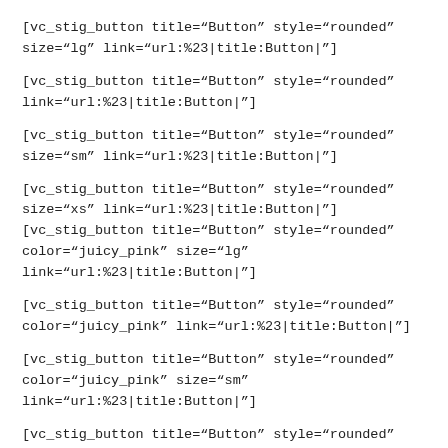[vc_stig_button title="Button" style="rounded" size="lg" link="url:%23|title:Button|"]
[vc_stig_button title="Button" style="rounded" link="url:%23|title:Button|"]
[vc_stig_button title="Button" style="rounded" size="sm" link="url:%23|title:Button|"]
[vc_stig_button title="Button" style="rounded" size="xs" link="url:%23|title:Button|"]
[vc_stig_button title="Button" style="rounded" color="juicy_pink" size="lg" link="url:%23|title:Button|"]
[vc_stig_button title="Button" style="rounded" color="juicy_pink" link="url:%23|title:Button|"]
[vc_stig_button title="Button" style="rounded" color="juicy_pink" size="sm" link="url:%23|title:Button|"]
[vc_stig_button title="Button" style="rounded" size="xs"